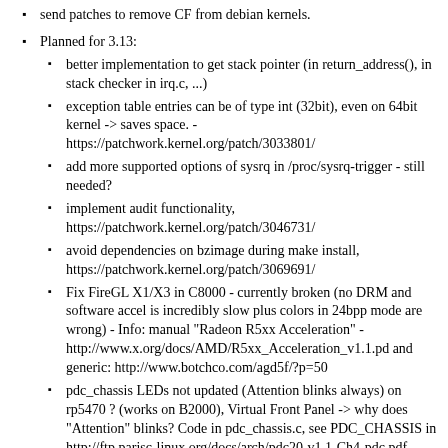send patches to remove CF from debian kernels.
Planned for 3.13:
better implementation to get stack pointer (in return_address(), in stack checker in irq.c, ...)
exception table entries can be of type int (32bit), even on 64bit kernel -> saves space. - https://patchwork.kernel.org/patch/3033801/
add more supported options of sysrq in /proc/sysrq-trigger - still needed?
implement audit functionality, https://patchwork.kernel.org/patch/3046731/
avoid dependencies on bzimage during make install, https://patchwork.kernel.org/patch/3069691/
Fix FireGL X1/X3 in C8000 - currently broken (no DRM and software accel is incredibly slow plus colors in 24bpp mode are wrong) - Info: manual "Radeon R5xx Acceleration" - http://www.x.org/docs/AMD/R5xx_Acceleration_v1.1.pd and generic: http://www.botchco.com/agd5f/?p=50
pdc_chassis LEDs not updated (Attention blinks always) on rp5470 ? (works on B2000), Virtual Front Panel -> why does "Attention" blinks? Code in pdc_chassis.c, see PDC_CHASSIS in http://ftp.parisc-linux.org/docs/arch/pdc20-v1.1-Ch4-pdc.pdf
megaraid on my rp5470 hangs at boot (maybe because